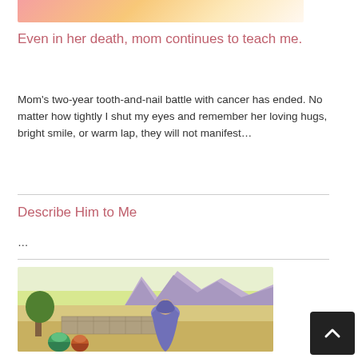[Figure (illustration): Decorative floral/nature image at top of page, pink and orange gradient with leaf motifs]
Even in her death, mom continues to teach me.
Mom's two-year tooth-and-nail battle with cancer has ended. No matter how tightly I shut my eyes and remember her loving hugs, bright smile, or warm lap, they will not manifest…
Describe Him to Me
…
[Figure (illustration): Illustrated scene showing a robed figure kneeling near a well in a desert landscape with mountains, stone walls, and trees in the background]
The Woman at the Well